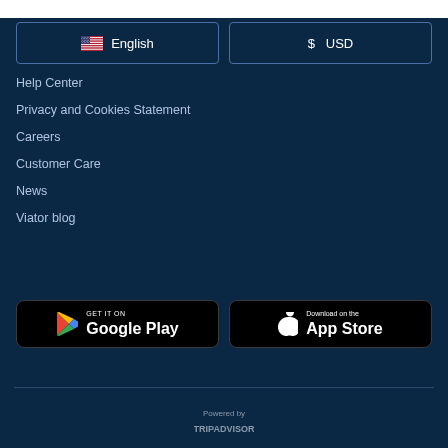🇺🇸 English
$ USD
Help Center
Privacy and Cookies Statement
Careers
Customer Care
News
Viator blog
[Figure (logo): GET IT ON Google Play button]
[Figure (logo): Download on the App Store button]
Powered by